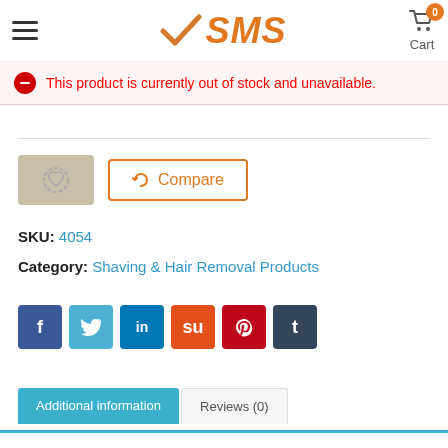SMS — Cart (0)
This product is currently out of stock and unavailable.
[Figure (screenshot): Wishlist button with heart icon and Compare button with orange border]
SKU: 4054
Category: Shaving & Hair Removal Products
[Figure (infographic): Social sharing buttons: Facebook, Twitter, LinkedIn, StumbleUpon, Pinterest, Tumblr]
Additional information | Reviews (0)